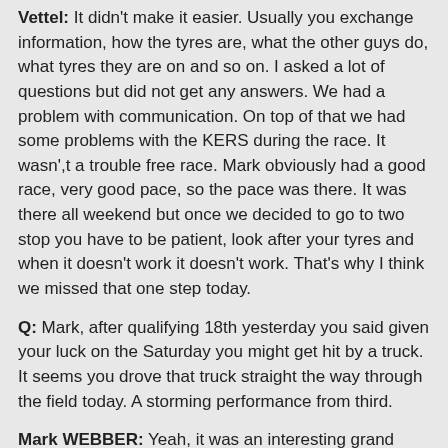Vettel: It didn't make it easier. Usually you exchange information, how the tyres are, what the other guys do, what tyres they are on and so on. I asked a lot of questions but did not get any answers. We had a problem with communication. On top of that we had some problems with the KERS during the race. It wasn',t a trouble free race. Mark obviously had a good race, very good pace, so the pace was there. It was there all weekend but once we decided to go to two stop you have to be patient, look after your tyres and when it doesn't work it doesn't work. That's why I think we missed that one step today.
Q: Mark, after qualifying 18th yesterday you said given your luck on the Saturday you might get hit by a truck. It seems you drove that truck straight the way through the field today. A storming performance from third.
Mark WEBBER: Yeah, it was an interesting grand prix. I think we decided to start on the prime, the hard tyre, in the first stint which we know was not the most desired tyre for everyone in the field as it doesn't really have the characteristics of a hard tyre in terms of sometimes duration and lots of things like that so got that out of the way. But that was quite tricky actually